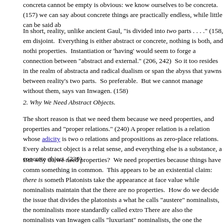concreta cannot be empty is obvious: we know ourselves to be concreta. (157) we can say about concrete things are practically endless, while little can be said ab...
In short, reality, unlike ancient Gaul, "is divided into two parts . . . ." (158, em... disjoint. Everything is either abstract or concrete, nothing is both, and nothi... properties. Instantiation or 'having' would seem to forge a connection between... "abstract and external." (206, 242) So it too resides in the realm of abstracta and... radical dualism or span the abyss that yawns between reality's two parts. So... preferable. But we cannot manage without them, says van Inwagen. (158)
2. Why We Need Abstract Objects.
The short reason is that we need them because we need properties, and properties... and "proper relations." (240) A proper relation is a relation whose adicity is two o... relations and propositions as zero-place relations. Every abstract object is a relat... sense, and everything else is a substance, a concrete object. (239)
But why do we need properties? We need properties because things have comm... something in common. This appears to be an existential claim: there is someth... Platonists take the appearance at face value while nominalists maintain that the... there are no properties. How do we decide the issue that divides the platonists a... what he calls "austere" nominalists, the nominalists more standardly called extro... There are also the nominalists van Inwagen calls "luxuriant" nominalists, the one... the existence of tropes or individual accidents or particularized properties. (203, 2... properties at all -- a lunatic view if I may inject my opinion -- while the modera... universals. Platonists are not austere nominalists because they accept properties;... universals.
3. Van Inwagen's Method.
The method derives from Quine. We start with the beliefs we already have, coul...